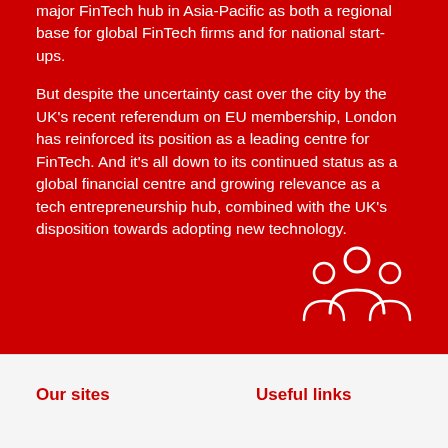major FinTech hub in Asia-Pacific as both a regional base for global FinTech firms and for national start-ups.

But despite the uncertainty cast over the city by the UK's recent referendum on EU membership, London has reinforced its position as a leading centre for FinTech. And it's all down to its continued status as a global financial centre and growing relevance as a tech entrepreneurship hub, combined with the UK's disposition towards adopting new technology.
[Figure (illustration): White outline icon of three people (group/community) on red background]
Our sites
Useful links